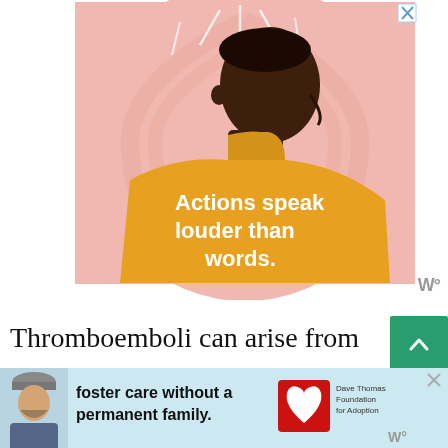[Figure (illustration): Advertisement illustration showing a side profile of a Black man with a yellow turtleneck sweater against a pink swirling background. White text on the sweater reads 'Actions speak louder than words.' A small blue X close button is in the top right corner.]
Thromboemboli can arise from the formation of blood clots in either arteries or veins. In response to blood vessel injuries, blood clots form as clusters of aggregated
[Figure (illustration): Bottom advertisement banner with light blue background featuring a bearded man in a winter hat on the left, text 'foster care without a permanent family.' in bold, and the Dave Thomas Foundation for Adoption logo on the right.]